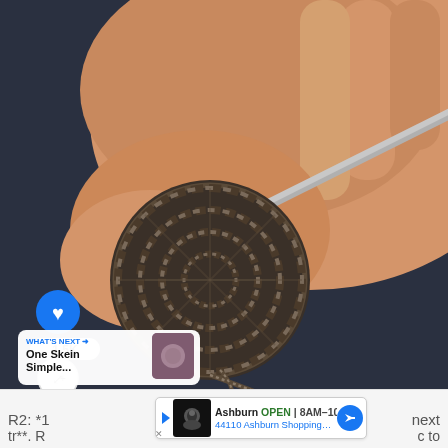[Figure (photo): A hand holding a small circular crochet piece (dark grey/brown yarn), with a pink-handled crochet hook inserted. Yarn trails off to the lower right. Background is dark blue fabric. Social media interface overlays: a blue heart/like button, '1.5K' count, a share button, and a 'WHAT'S NEXT' banner showing 'One Skein Simple...' with a thumbnail.]
R2: *1 tr**. R next c to
[Figure (screenshot): Advertisement banner: Ashburn OPEN 8AM-10PM, 44110 Ashburn Shopping Plaza... with a robot/store icon and a blue navigation arrow.]